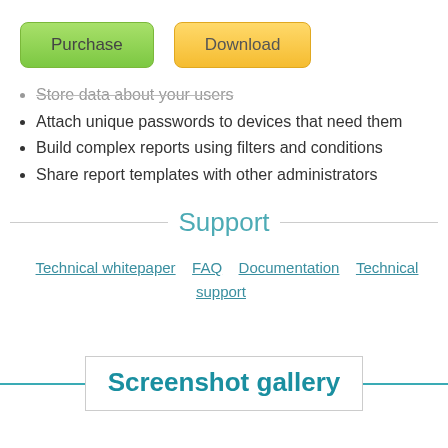[Figure (screenshot): Two buttons: 'Purchase' (green rounded rectangle) and 'Download' (yellow/gold rounded rectangle)]
Store data about your users
Attach unique passwords to devices that need them
Build complex reports using filters and conditions
Share report templates with other administrators
Support
Technical whitepaper   FAQ   Documentation   Technical support
Screenshot gallery